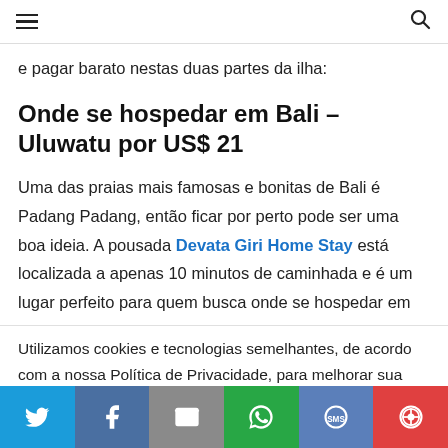☰  🔍
e pagar barato nestas duas partes da ilha:
Onde se hospedar em Bali – Uluwatu por US$ 21
Uma das praias mais famosas e bonitas de Bali é Padang Padang, então ficar por perto pode ser uma boa ideia. A pousada Devata Giri Home Stay está localizada a apenas 10 minutos de caminhada e é um lugar perfeito para quem busca onde se hospedar em
Utilizamos cookies e tecnologias semelhantes, de acordo com a nossa Política de Privacidade, para melhorar sua experiência.
Social share bar: Twitter, Facebook, Email, WhatsApp, SMS, Share